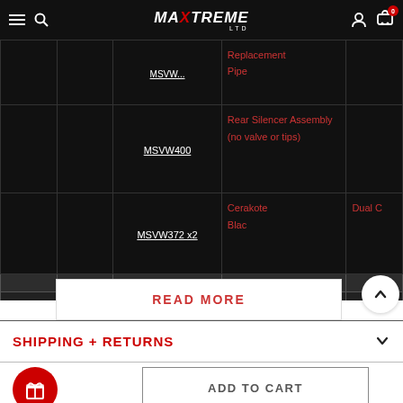MAXtreme LTD - Navigation bar with hamburger, search, logo, user icon, cart (0)
|  | Part Number | Description |  |  |
| --- | --- | --- | --- | --- |
|  | MSVW... | Replacement Pipe |  |  |
|  | MSVW400 | Rear Silencer Assembly (no valve or tips) |  |  |
|  | MSVW372 x2 | Cerakote Black... |  | Dual C... |
READ MORE
SHIPPING + RETURNS
ADD TO CART